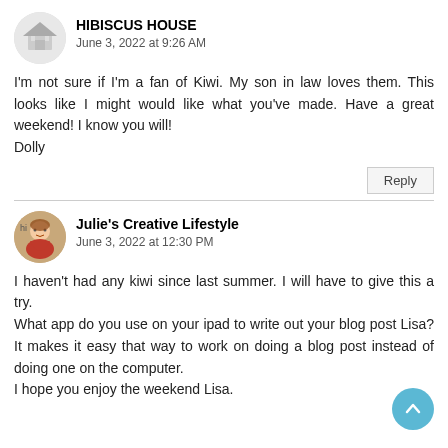[Figure (illustration): Circular avatar for Hibiscus House with a house illustration]
HIBISCUS HOUSE
June 3, 2022 at 9:26 AM
I'm not sure if I'm a fan of Kiwi. My son in law loves them. This looks like I might would like what you've made. Have a great weekend! I know you will!
Dolly
Reply
[Figure (illustration): Circular avatar for Julie's Creative Lifestyle with a cartoon woman illustration]
Julie's Creative Lifestyle
June 3, 2022 at 12:30 PM
I haven't had any kiwi since last summer. I will have to give this a try.
What app do you use on your ipad to write out your blog post Lisa? It makes it easy that way to work on doing a blog post instead of doing one on the computer.
I hope you enjoy the weekend Lisa.